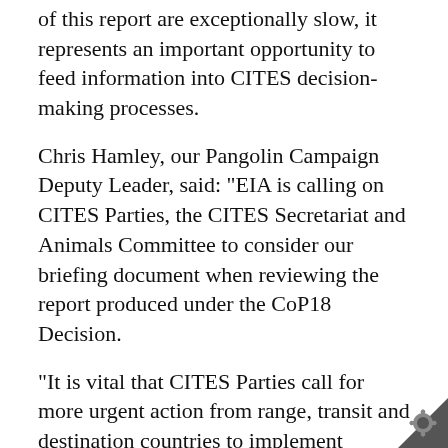of this report are exceptionally slow, it represents an important opportunity to feed information into CITES decision-making processes.
Chris Hamley, our Pangolin Campaign Deputy Leader, said: "EIA is calling on CITES Parties, the CITES Secretariat and Animals Committee to consider our briefing document when reviewing the report produced under the CoP18 Decision.
"It is vital that CITES Parties call for more urgent action from range, transit and destination countries to implement effective international law enforcement efforts targeting the criminal networks involved in pangolin trafficking.
"Above all, it is essential that the international community, particularly those countries most affected by pangolin trafficking, strongly encourage the Government of China to eliminate demand for pangolin products, including by enforcing a